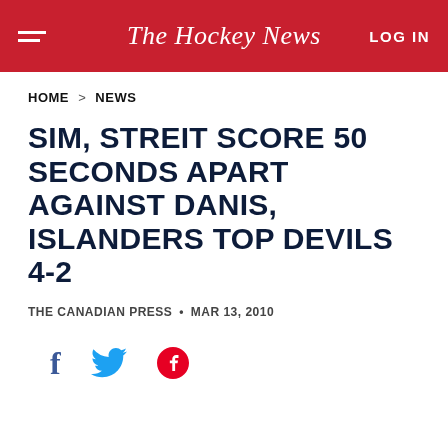The Hockey News
HOME > NEWS
SIM, STREIT SCORE 50 SECONDS APART AGAINST DANIS, ISLANDERS TOP DEVILS 4-2
THE CANADIAN PRESS • MAR 13, 2010
[Figure (other): Social sharing icons: Facebook, Twitter, Pinterest]